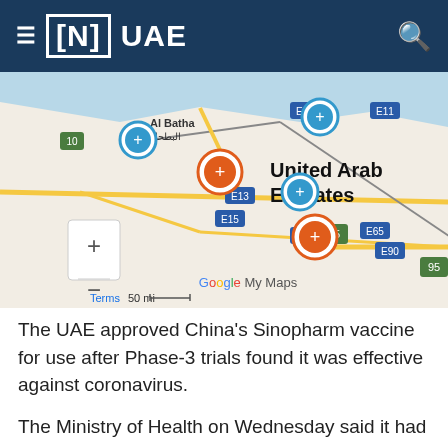≡ [N] UAE
[Figure (map): Google My Maps showing United Arab Emirates with medical facility markers (blue and orange) along highways including E11, E13, E15, E45, E65, E90, route 95. Al Batha / البطحاء labeled in top left. United Arab Emirates label in top right area.]
The UAE approved China's Sinopharm vaccine for use after Phase-3 trials found it was effective against coronavirus.
The Ministry of Health on Wednesday said it had approved a request from the Chinese drug